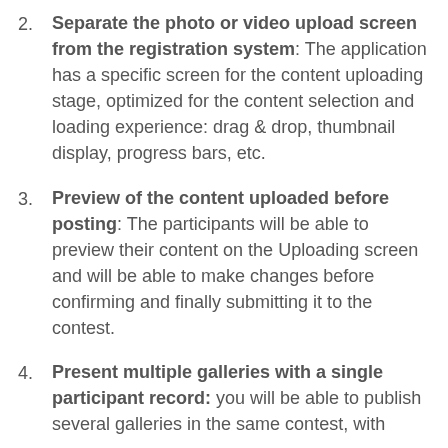2. Separate the photo or video upload screen from the registration system: The application has a specific screen for the content uploading stage, optimized for the content selection and loading experience: drag & drop, thumbnail display, progress bars, etc.
3. Preview of the content uploaded before posting: The participants will be able to preview their content on the Uploading screen and will be able to make changes before confirming and finally submitting it to the contest.
4. Present multiple galleries with a single participant record: you will be able to publish several galleries in the same contest, with